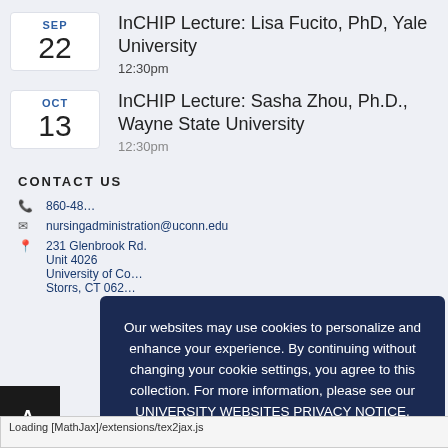SEP 22 — InCHIP Lecture: Lisa Fucito, PhD, Yale University — 12:30pm
OCT 13 — InCHIP Lecture: Sasha Zhou, Ph.D., Wayne State University — 12:30pm
CONTACT US
860-48...
nursingadministration@uconn.edu
231 Glenbrook Rd.
Unit 4026
University of Connecticut
Storrs, CT 062...
[Figure (screenshot): Cookie consent modal overlay with dark navy background. Text reads: 'Our websites may use cookies to personalize and enhance your experience. By continuing without changing your cookie settings, you agree to this collection. For more information, please see our UNIVERSITY WEBSITES PRIVACY NOTICE.' Below is a blue OK button with a checkmark.]
Loading [MathJax]/extensions/tex2jax.js